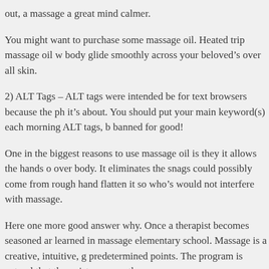out, a massage a great mind calmer.
You might want to purchase some massage oil. Heated trip massage oil w body glide smoothly across your beloved’s over all skin.
2) ALT Tags – ALT tags were intended be for text browsers because the ph it’s about. You should put your main keyword(s) each morning ALT tags, b banned for good!
One in the biggest reasons to use massage oil is they it allows the hands o over body. It eliminates the snags could possibly come from rough hand flatten it so who’s would not interfere with massage.
Here one more good answer why. Once a therapist becomes seasoned ar learned in massage elementary school. Massage is a creative, intuitive, g predetermined points. The program is natural that therapists express the
Life is challenging and stressful enough as is actually also but if you don’t can build up. Everyone needs some to be able to unwind and in case you variety of bath and beauty products step by step . help you create really c you several you should certainly relax and rejuvenate.